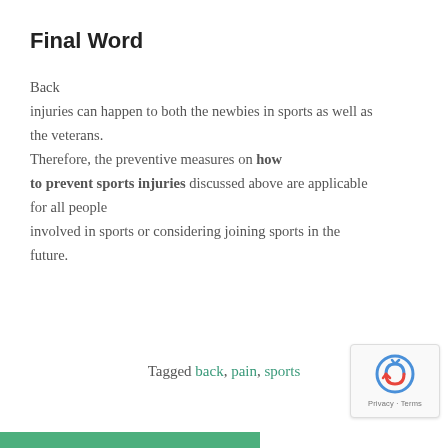Final Word
Back injuries can happen to both the newbies in sports as well as the veterans. Therefore, the preventive measures on how to prevent sports injuries discussed above are applicable for all people involved in sports or considering joining sports in the future.
Tagged back, pain, sports